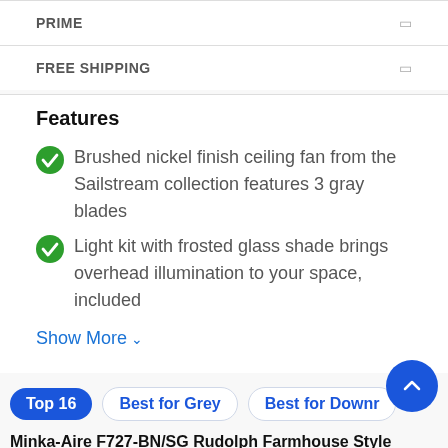PRIME
FREE SHIPPING
Features
Brushed nickel finish ceiling fan from the Sailstream collection features 3 gray blades
Light kit with frosted glass shade brings overhead illumination to your space, included
Show More
Top 16  Best for Grey  Best for Downr
Minka-Aire F727-BN/SG Rudolph Farmhouse Style Ceiling Fan, Brushed Nickel Finish with